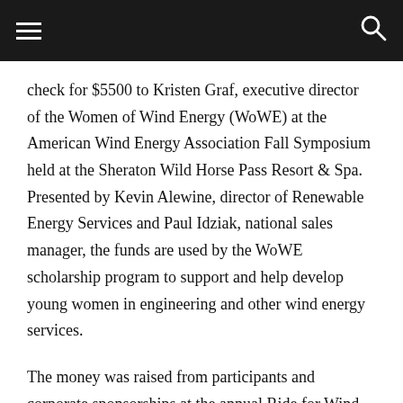check for $5500 to Kristen Graf, executive director of the Women of Wind Energy (WoWE) at the American Wind Energy Association Fall Symposium held at the Sheraton Wild Horse Pass Resort & Spa. Presented by Kevin Alewine, director of Renewable Energy Services and Paul Idziak, national sales manager, the funds are used by the WoWE scholarship program to support and help develop young women in engineering and other wind energy services.
The money was raised from participants and corporate sponsorships at the annual Ride for Wind event in Sweetwater, Texas. The Ride for Wind is an all-day motorcycle tour through the vast wind farms in West Texas. The participant riders traveled through the thousands of utility scale wind turbines that surround Sweetwater, Big Spring, Roscoe, and Snyder, Texas. This charity